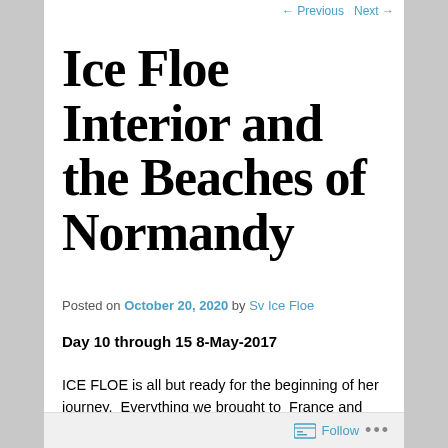← Previous   Next →
Ice Floe Interior and the Beaches of Normandy
Posted on October 20, 2020 by Sv Ice Floe
Day 10 through 15 8-May-2017
ICE FLOE is all but ready for the beginning of her journey.  Everything we brought to  France and many items we purchased here are all stowed and we are ready to show her off.
Follow ...